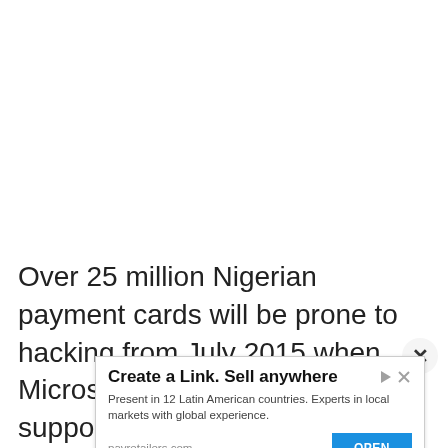Over 25 million Nigerian payment cards will be prone to hacking from July 2015 when Microsoft Corporation will end its support for the Windows Server 2003 and Windows Server 2003 R2
[Figure (screenshot): Advertisement overlay: 'Create a Link. Sell anywhere' from payretailers.com with an OPEN button, plus a close (X) button and ad choice icons]